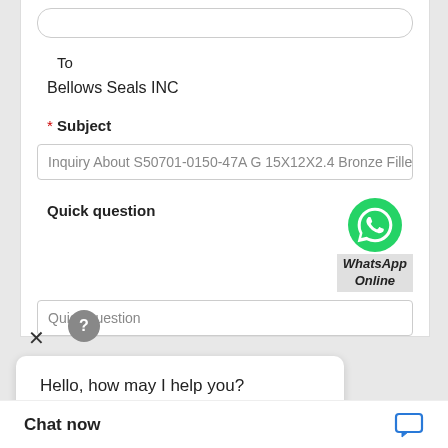To
Bellows Seals INC
* Subject
Inquiry About S50701-0150-47A G 15X12X2.4 Bronze Filled G
Quick question
[Figure (logo): WhatsApp green phone icon with WhatsApp Online text]
Quick question
[Figure (infographic): Chat widget: question mark bubble, X close button, Hello how may I help you? speech bubble, Chat now bar with blue chat icon]
Hello, how may I help you?
For the best results, we recommend including the following
Chat now